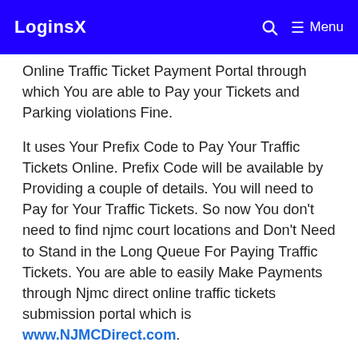LoginsX    🔍    ☰ Menu
Online Traffic Ticket Payment Portal through which You are able to Pay your Tickets and Parking violations Fine.
It uses Your Prefix Code to Pay Your Traffic Tickets Online. Prefix Code will be available by Providing a couple of details. You will need to Pay for Your Traffic Tickets. So now You don't need to find njmc court locations and Don't Need to Stand in the Long Queue For Paying Traffic Tickets. You are able to easily Make Payments through Njmc direct online traffic tickets submission portal which is www.NJMCDirect.com.
www.NIMCdirect.com Web